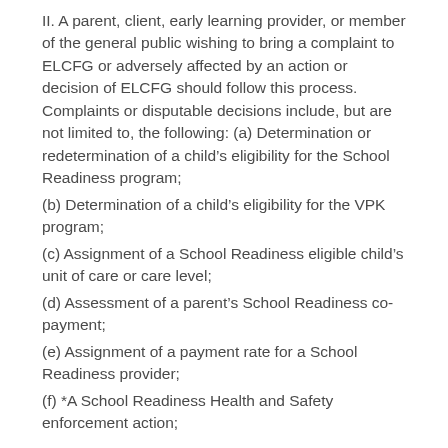II. A parent, client, early learning provider, or member of the general public wishing to bring a complaint to ELCFG or adversely affected by an action or decision of ELCFG should follow this process. Complaints or disputable decisions include, but are not limited to, the following: (a) Determination or redetermination of a child’s eligibility for the School Readiness program;
(b) Determination of a child’s eligibility for the VPK program;
(c) Assignment of a School Readiness eligible child’s unit of care or care level;
(d) Assessment of a parent’s School Readiness co-payment;
(e) Assignment of a payment rate for a School Readiness provider;
(f) *A School Readiness Health and Safety enforcement action;